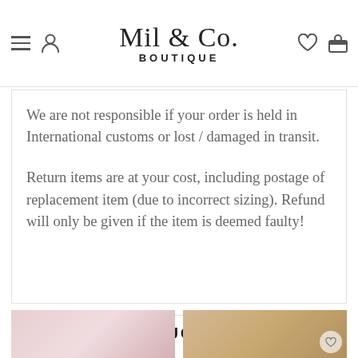Mil & Co. BOUTIQUE
We are not responsible if your order is held in International customs or lost / damaged in transit.
Return items are at your cost, including postage of replacement item (due to incorrect sizing). Refund will only be given if the item is deemed faulty!
RELATED PRODUCTS
[Figure (photo): Product thumbnail - left, blurred pink/floral item]
[Figure (photo): Product thumbnail - right, gold/tan item with heart icon overlay]